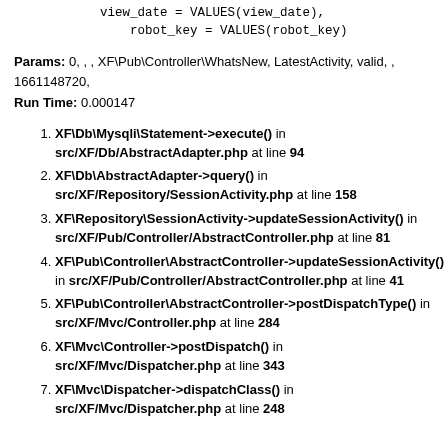view_date = VALUES(view_date),
    robot_key = VALUES(robot_key)
Params: 0, , , XF\Pub\Controller\WhatsNew, LatestActivity, valid, , 1661148720,
Run Time: 0.000147
XF\Db\Mysqli\Statement->execute() in src/XF/Db/AbstractAdapter.php at line 94
XF\Db\AbstractAdapter->query() in src/XF/Repository/SessionActivity.php at line 158
XF\Repository\SessionActivity->updateSessionActivity() in src/XF/Pub/Controller/AbstractController.php at line 81
XF\Pub\Controller\AbstractController->updateSessionActivity() in src/XF/Pub/Controller/AbstractController.php at line 41
XF\Pub\Controller\AbstractController->postDispatchType() in src/XF/Mvc/Controller.php at line 284
XF\Mvc\Controller->postDispatch() in src/XF/Mvc/Dispatcher.php at line 343
XF\Mvc\Dispatcher->dispatchClass() in src/XF/Mvc/Dispatcher.php at line 248